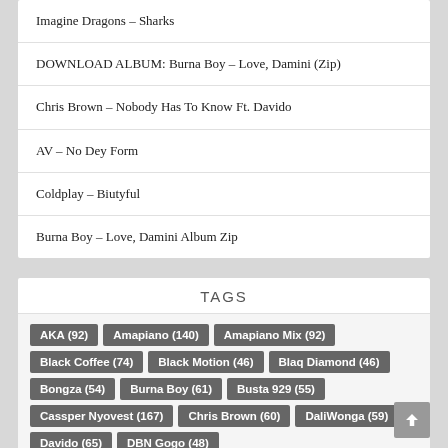Imagine Dragons – Sharks
DOWNLOAD ALBUM: Burna Boy – Love, Damini (Zip)
Chris Brown – Nobody Has To Know Ft. Davido
AV – No Dey Form
Coldplay – Biutyful
Burna Boy – Love, Damini Album Zip
TAGS
AKA (92) Amapiano (140) Amapiano Mix (92) Black Coffee (74) Black Motion (46) Blaq Diamond (46) Bongza (54) Burna Boy (61) Busta 929 (55) Cassper Nyovest (167) Chris Brown (60) DaliWonga (59) Davido (65) DBN Gogo (48)